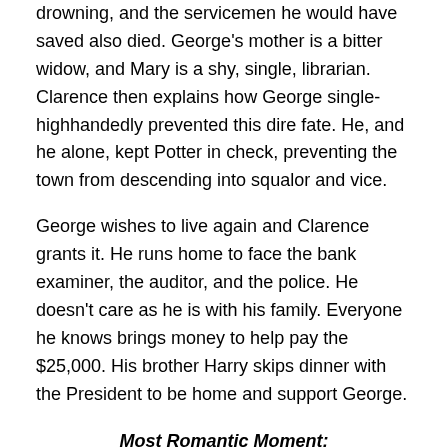drowning, and the servicemen he would have saved also died. George's mother is a bitter widow, and Mary is a shy, single, librarian. Clarence then explains how George single-highhandedly prevented this dire fate. He, and he alone, kept Potter in check, preventing the town from descending into squalor and vice.
George wishes to live again and Clarence grants it. He runs home to face the bank examiner, the auditor, and the police. He doesn't care as he is with his family. Everyone he knows brings money to help pay the $25,000. His brother Harry skips dinner with the President to be home and support George.
Most Romantic Moment:
So this year's most romantic moment comes right after George had visited Harry's graduation party. There he ran